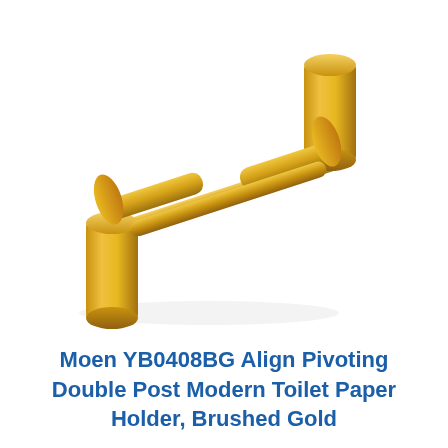[Figure (photo): A brushed gold Moen YB0408BG Align Pivoting Double Post toilet paper holder with two cylindrical posts and a horizontal bar, shown at an angle on a white background.]
Moen YB0408BG Align Pivoting Double Post Modern Toilet Paper Holder, Brushed Gold